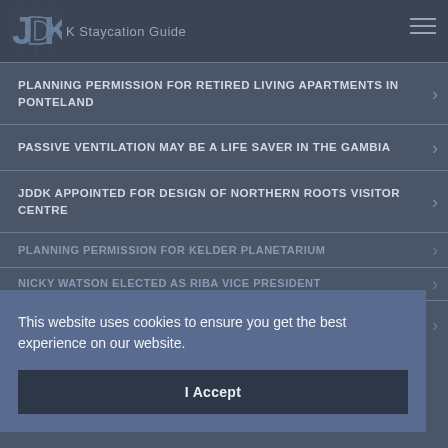JDDK Staycation Guide
PLANNING PERMISSION FOR RETIRED LIVING APARTMENTS IN PONTELAND
PASSIVE VENTILATION MAY BE A LIFE SAVER IN THE GAMBIA
JDDK APPOINTED FOR DESIGN OF NORTHERN ROOTS VISITOR CENTRE
Planning Permission For Kelder Planetarium
Nicky Watson Elected as RIBA Vice President
Alison's Ambassador Role
This website uses cookies to ensure you get the best experience on our website.
I Accept